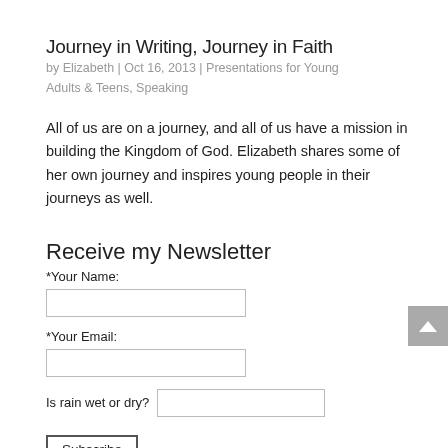Journey in Writing, Journey in Faith
by Elizabeth | Oct 16, 2013 | Presentations for Young Adults & Teens, Speaking
All of us are on a journey, and all of us have a mission in building the Kingdom of God. Elizabeth shares some of her own journey and inspires young people in their journeys as well.
Receive my Newsletter
*Your Name:
*Your Email:
Is rain wet or dry?
Subscribe